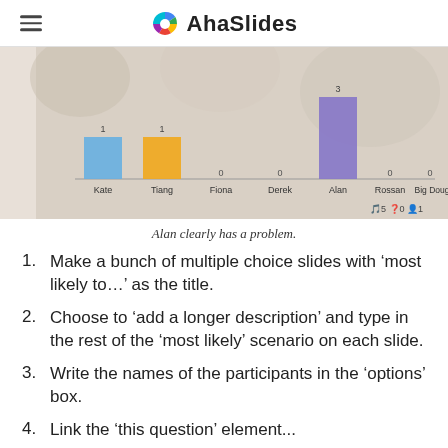AhaSlides
[Figure (bar-chart): Bar chart on floral background showing vote counts for participants Kate, Tiang, Fiona, Derek, Alan, Rossan, Big Doug. Alan has 3 votes (tallest bar, purple). Kate and Tiang each have 1 vote (blue and orange). Others have 0.]
Alan clearly has a problem.
Make a bunch of multiple choice slides with ‘most likely to…’ as the title.
Choose to ‘add a longer description’ and type in the rest of the ‘most likely’ scenario on each slide.
Write the names of the participants in the ‘options’ box.
Link the ‘this question’ element...